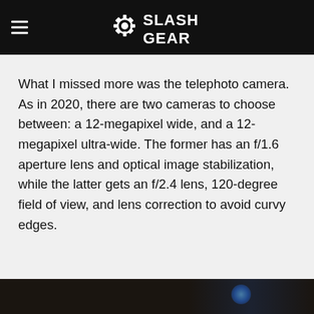SlashGear
What I missed more was the telephoto camera. As in 2020, there are two cameras to choose between: a 12-megapixel wide, and a 12-megapixel ultra-wide. The former has an f/1.6 aperture lens and optical image stabilization, while the latter gets an f/2.4 lens, 120-degree field of view, and lens correction to avoid curvy edges.
[Figure (photo): Dark photo strip at bottom of page, partially visible dark scene with a faint blue element visible at lower right]